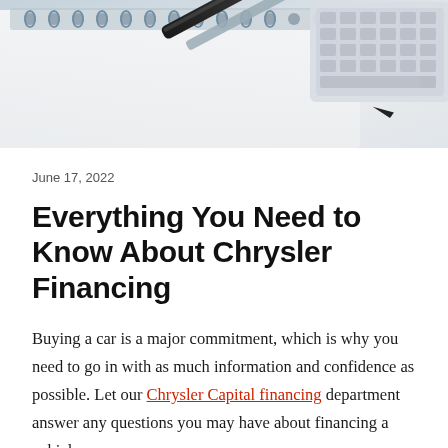[Figure (photo): Top-down photo of a desk with a spiral notebook, a black pen/pencil, and a white keyboard in the upper right corner. Light gray and white tones.]
June 17, 2022
Everything You Need to Know About Chrysler Financing
Buying a car is a major commitment, which is why you need to go in with as much information and confidence as possible. Let our Chrysler Capital financing department answer any questions you may have about financing a vehicle: